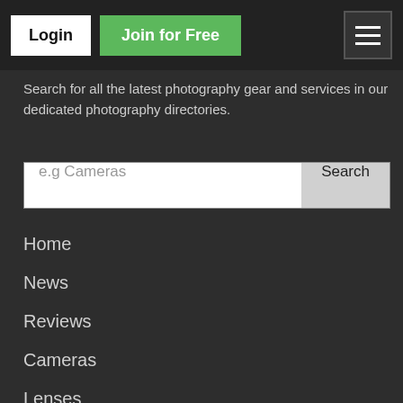Login | Join for Free
Search for all the latest photography gear and services in our dedicated photography directories.
[Figure (screenshot): Search input box with placeholder text 'e.g Cameras' and a Search button]
Home
News
Reviews
Cameras
Lenses
Phones
Photos
Forums
Competitions